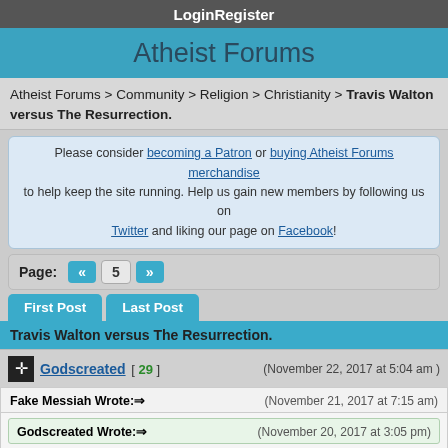Login   Register
Atheist Forums
Atheist Forums > Community > Religion > Christianity > Travis Walton versus The Resurrection.
Please consider becoming a Patron or buying Atheist Forums merchandise to help keep the site running. Help us gain new members by following us on Twitter and liking our page on Facebook!
Page: « 5 »
First Post   Last Post
Travis Walton versus The Resurrection.
Godscreated [ 29 ]   (November 22, 2017 at 5:04 am )
Fake Messiah Wrote: ⇒   (November 21, 2017 at 7:15 am)
Godscreated Wrote: ⇒   (November 20, 2017 at 3:05 pm)
Well if you do not know that the Bible speaks of the innumerable